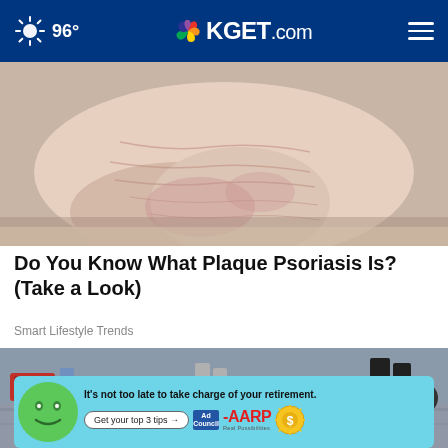96° KGET.com
[Figure (photo): Close-up photo of a person's foot/heel showing dry, cracked skin associated with plaque psoriasis]
Do You Know What Plaque Psoriasis Is? (Take a Look)
Smart Lifestyle Trends
[Figure (photo): Outdoor street-level photo showing people's legs and feet with dogs on leashes on a sidewalk]
[Figure (infographic): AARP advertisement banner: 'It's not too late to take charge of your retirement. Get your top 3 tips →' with Ad Council and AARP logos and a mascot character]